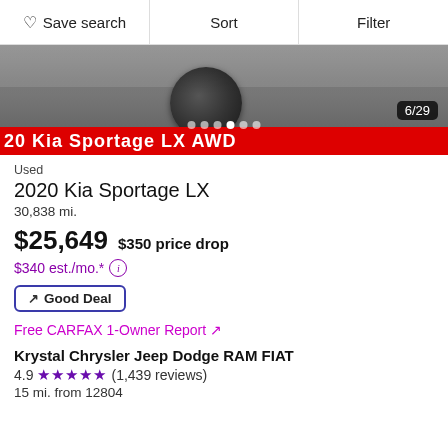Save search | Sort | Filter
[Figure (photo): Car photo showing undercarriage and wheel on pavement, image counter 6/29, red banner with text '20 Kia Sportage LX AWD']
Used
2020 Kia Sportage LX
30,838 mi.
$25,649  $350 price drop
$340 est./mo.*
Good Deal
Free CARFAX 1-Owner Report ↗
Krystal Chrysler Jeep Dodge RAM FIAT
4.9 ★★★★★ (1,439 reviews)
15 mi. from 12804